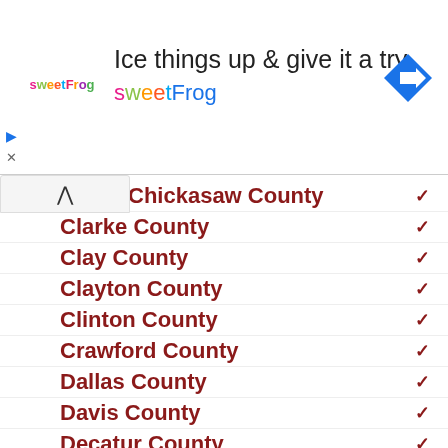[Figure (other): sweetFrog advertisement banner with logo, headline 'Ice things up & give it a try', subtext 'sweetFrog', and navigation arrow icon]
Chickasaw County
Clarke County
Clay County
Clayton County
Clinton County
Crawford County
Dallas County
Davis County
Decatur County
Delaware County